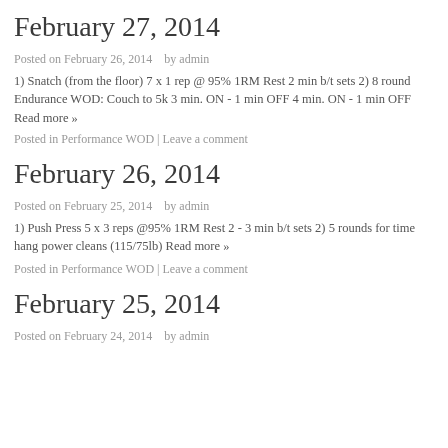February 27, 2014
Posted on February 26, 2014    by admin
1) Snatch (from the floor) 7 x 1 rep @ 95% 1RM Rest 2 min b/t sets 2) 8 rounds Endurance WOD: Couch to 5k 3 min. ON - 1 min OFF 4 min. ON - 1 min OFF
Read more »
Posted in Performance WOD | Leave a comment
February 26, 2014
Posted on February 25, 2014    by admin
1) Push Press 5 x 3 reps @95% 1RM Rest 2 - 3 min b/t sets 2) 5 rounds for time hang power cleans (115/75lb) Read more »
Posted in Performance WOD | Leave a comment
February 25, 2014
Posted on February 24, 2014    by admin